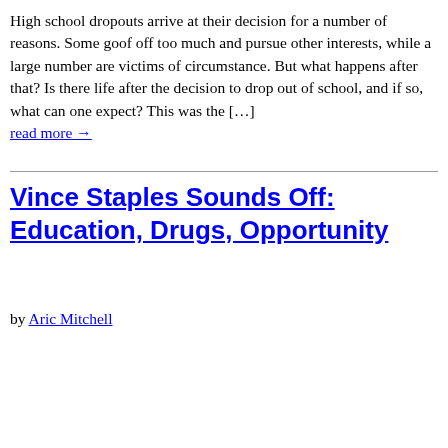High school dropouts arrive at their decision for a number of reasons. Some goof off too much and pursue other interests, while a large number are victims of circumstance. But what happens after that? Is there life after the decision to drop out of school, and if so, what can one expect? This was the […] read more →
Vince Staples Sounds Off: Education, Drugs, Opportunity
by Aric Mitchell